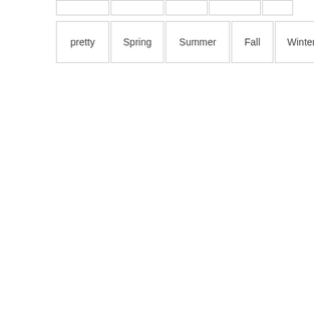|  |  |  |  |  |
| pretty | Spring | Summer | Fall | Winter | pri... |